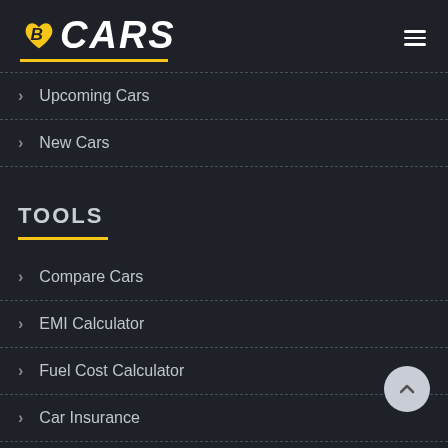B CARS logo with hamburger menu
Upcoming Cars
New Cars
TOOLS
Compare Cars
EMI Calculator
Fuel Cost Calculator
Car Insurance
Sell Your Car